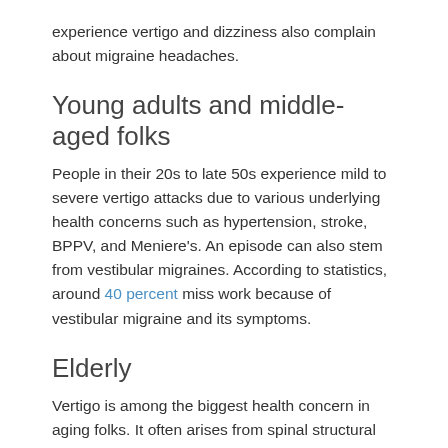experience vertigo and dizziness also complain about migraine headaches.
Young adults and middle-aged folks
People in their 20s to late 50s experience mild to severe vertigo attacks due to various underlying health concerns such as hypertension, stroke, BPPV, and Meniere's. An episode can also stem from vestibular migraines. According to statistics, around 40 percent miss work because of vestibular migraine and its symptoms.
Elderly
Vertigo is among the biggest health concern in aging folks. It often arises from spinal structural problems as the misaligned vertebral bones press on the brainstem, affecting the transmission of signals to the brain.